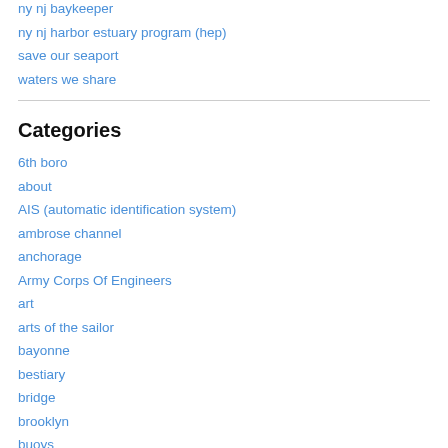ny nj baykeeper
ny nj harbor estuary program (hep)
save our seaport
waters we share
Categories
6th boro
about
AIS (automatic identification system)
ambrose channel
anchorage
Army Corps Of Engineers
art
arts of the sailor
bayonne
bestiary
bridge
brooklyn
buoys